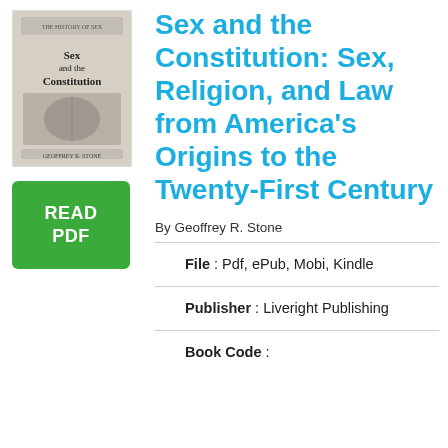[Figure (illustration): Book cover thumbnail for 'Sex and the Constitution' by Geoffrey R. Stone, showing an illustration with the book title and author name.]
[Figure (other): Green button with white text reading 'READ PDF']
Sex and the Constitution: Sex, Religion, and Law from America's Origins to the Twenty-First Century
By Geoffrey R. Stone
File : Pdf, ePub, Mobi, Kindle
Publisher : Liveright Publishing
Book Code :